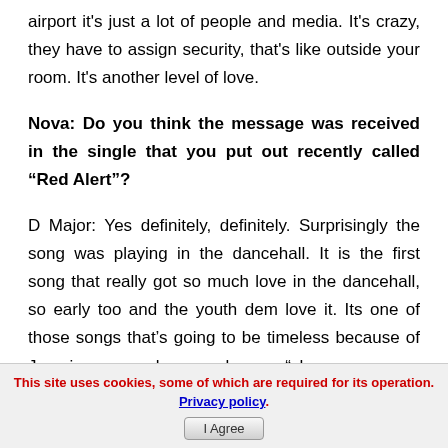airport it's just a lot of people and media. It's crazy, they have to assign security, that's like outside your room. It's another level of love.
Nova: Do you think the message was received in the single that you put out recently called “Red Alert”?
D Major: Yes definitely, definitely. Surprisingly the song was playing in the dancehall. It is the first song that really got so much love in the dancehall, so early too and the youth dem love it. Its one of those songs that’s going to be timeless because of Jamaica proverb you know, “show me your company and I tell you who you are”. So it’s always going
This site uses cookies, some of which are required for its operation. Privacy policy. I Agree